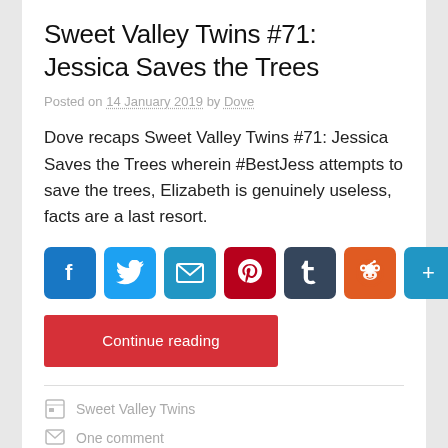Sweet Valley Twins #71: Jessica Saves the Trees
Posted on 14 January 2019 by Dove
Dove recaps Sweet Valley Twins #71: Jessica Saves the Trees wherein #BestJess attempts to save the trees, Elizabeth is genuinely useless, facts are a last resort.
[Figure (infographic): Social sharing buttons: Facebook, Twitter, Email, Pinterest, Tumblr, Reddit, Share]
Continue reading
Sweet Valley Twins
One comment
Alice Wakefield, Amy Sutton, Elizabeth